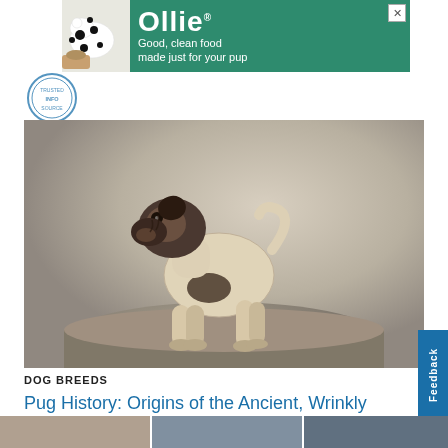[Figure (photo): Advertisement banner for Ollie dog food featuring a dalmatian dog with text 'Good, clean food made just for your pup']
[Figure (logo): Circular logo/seal in blue and white]
[Figure (photo): Vintage black and white photograph of a pug dog standing on a rock or cushion, viewed from the side]
DOG BREEDS
Pug History: Origins of the Ancient, Wrinkly Companion Dog
[Figure (photo): Bottom strip showing three small thumbnail images]